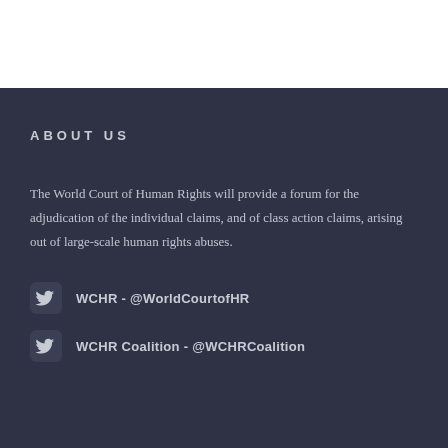ABOUT US
The World Court of Human Rights will provide a forum for the adjudication of the individual claims, and of class action claims, arising out of large-scale human rights abuses.
WCHR - @WorldCourtofHR
WCHR Coalition - @WCHRCoalition